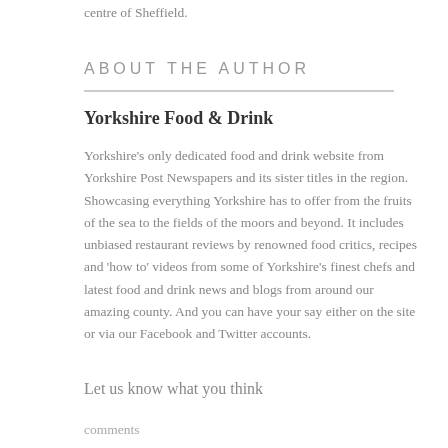centre of Sheffield.
ABOUT THE AUTHOR
Yorkshire Food & Drink
Yorkshire's only dedicated food and drink website from Yorkshire Post Newspapers and its sister titles in the region. Showcasing everything Yorkshire has to offer from the fruits of the sea to the fields of the moors and beyond. It includes unbiased restaurant reviews by renowned food critics, recipes and 'how to' videos from some of Yorkshire's finest chefs and latest food and drink news and blogs from around our amazing county. And you can have your say either on the site or via our Facebook and Twitter accounts.
Let us know what you think
comments